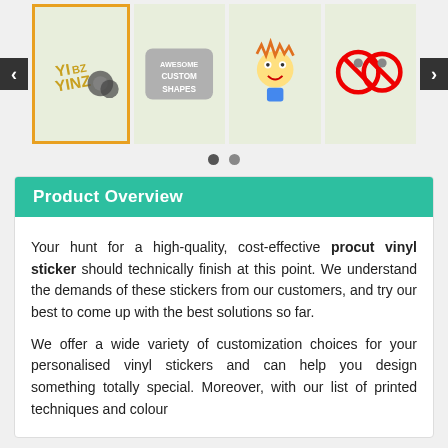[Figure (screenshot): Carousel of 4 product thumbnail images showing custom vinyl stickers: a YinZ logo sticker, an 'Awesome Custom Shapes' sticker, a cartoon character sticker, and two circular no-symbol stickers. Left and right navigation arrows visible.]
[Figure (other): Carousel pagination dots: one dark (active) and one light]
Product Overview
Your hunt for a high-quality, cost-effective procut vinyl sticker should technically finish at this point. We understand the demands of these stickers from our customers, and try our best to come up with the best solutions so far.
We offer a wide variety of customization choices for your personalised vinyl stickers and can help you design something totally special. Moreover, with our list of printed techniques and colour